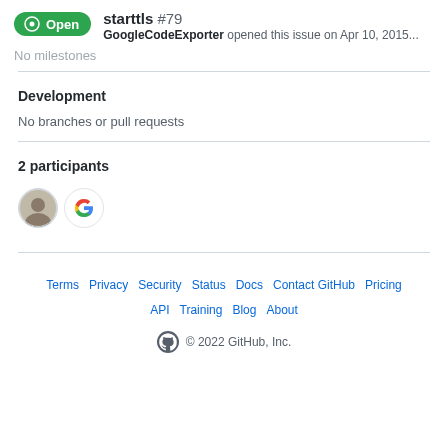starttls #79 — GoogleCodeExporter opened this issue on Apr 10, 2015...
No milestones
Development
No branches or pull requests
2 participants
[Figure (illustration): Two participant avatars: a person photo and the Google 'G' logo]
Terms  Privacy  Security  Status  Docs  Contact GitHub  Pricing  API  Training  Blog  About  © 2022 GitHub, Inc.